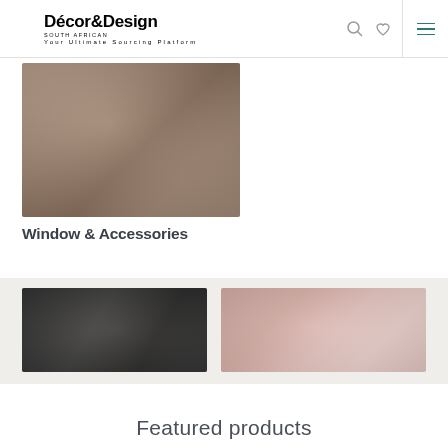Décor&Design — Your Ultimate Sourcing Platform
[Figure (photo): Blurred interior/window product photograph with warm brown tones]
Window & Accessories
[Figure (photo): Two blurred product banner images: dark left image and light pinkish-beige right image on a light grey background]
Featured products